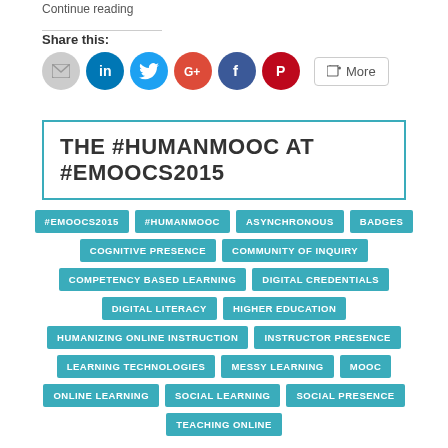Continue reading
Share this:
[Figure (infographic): Social sharing icons: email, LinkedIn, Twitter, Google+, Facebook, Pinterest, and a More button]
THE #HUMANMOOC AT #EMOOCS2015
#EMOOCS2015
#HUMANMOOC
ASYNCHRONOUS
BADGES
COGNITIVE PRESENCE
COMMUNITY OF INQUIRY
COMPETENCY BASED LEARNING
DIGITAL CREDENTIALS
DIGITAL LITERACY
HIGHER EDUCATION
HUMANIZING ONLINE INSTRUCTION
INSTRUCTOR PRESENCE
LEARNING TECHNOLOGIES
MESSY LEARNING
MOOC
ONLINE LEARNING
SOCIAL LEARNING
SOCIAL PRESENCE
TEACHING ONLINE